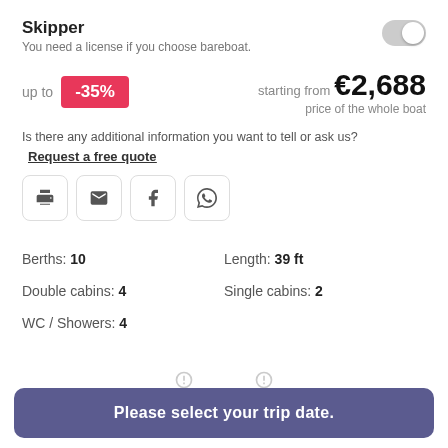Skipper
You need a license if you choose bareboat.
up to -35%  starting from €2,688  price of the whole boat
Is there any additional information you want to tell or ask us?
Request a free quote
[Figure (infographic): Share buttons: print, email, Facebook, WhatsApp]
Berths: 10
Length: 39 ft
Double cabins: 4
Single cabins: 2
WC / Showers: 4
Please select your trip date.